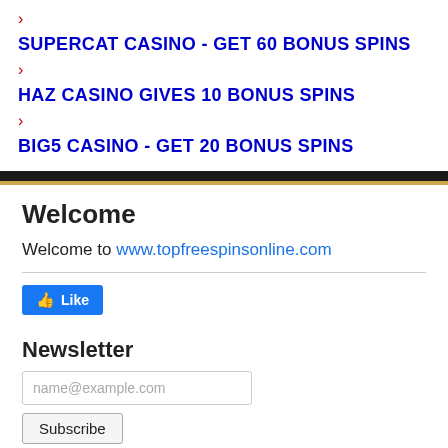SUPERCAT CASINO - GET 60 BONUS SPINS
HAZ CASINO GIVES 10 BONUS SPINS
BIG5 CASINO - GET 20 BONUS SPINS
Welcome
Welcome to www.topfreespinsonline.com
[Figure (other): Facebook Like button]
Newsletter
name@example.com (email input field)
Subscribe (button)
By subscribing you are certifying that you have